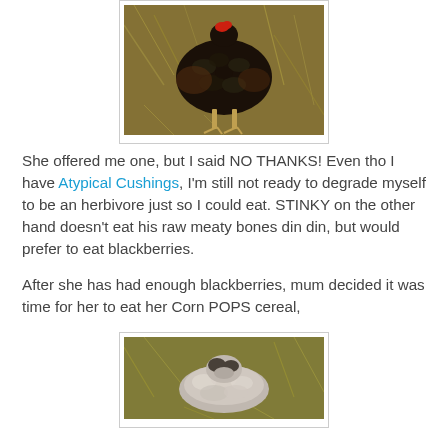[Figure (photo): A black and brown chicken/hen standing on dry grass, viewed from above/behind]
She offered me one, but I said NO THANKS! Even tho I have Atypical Cushings, I'm still not ready to degrade myself to be an herbivore just so I could eat. STINKY on the other hand doesn't eat his raw meaty bones din din, but would prefer to eat blackberries.
After she has had enough blackberries, mum decided it was time for her to eat her Corn POPS cereal,
[Figure (photo): A small gray/white fluffy dog or animal lying on dry grass, viewed from above]